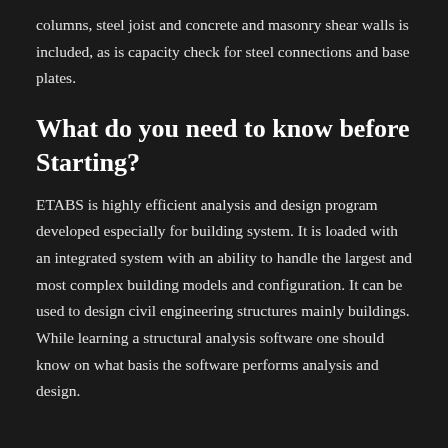columns, steel joist and concrete and masonry shear walls is included, as is capacity check for steel connections and base plates.
What do you need to know before Starting?
ETABS is highly efficient analysis and design program developed especially for building system. It is loaded with an integrated system with an ability to handle the largest and most complex building models and configuration. It can be used to design civil engineering structures mainly buildings. While learning a structural analysis software one should know on what basis the software performs analysis and design.